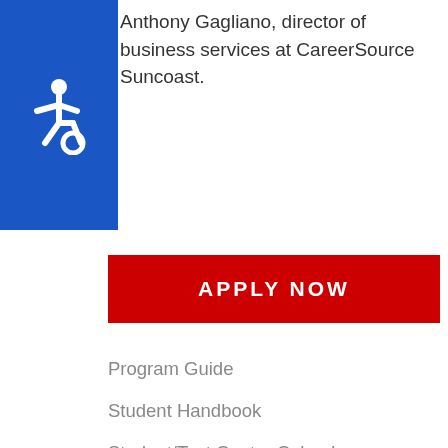Anthony Gagliano, director of business services at CareerSource Suncoast.
[Figure (illustration): Blue square with white wheelchair accessibility symbol]
APPLY NOW
Program Guide
Student Handbook
Student/Test Center Calendars
More MTC News
2022
2021
2020
2019